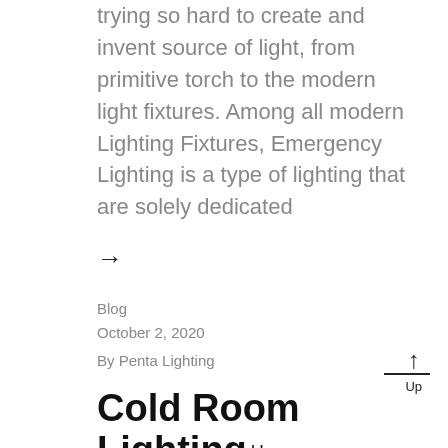trying so hard to create and invent source of light, from primitive torch to the modern light fixtures. Among all modern Lighting Fixtures, Emergency Lighting is a type of lighting that are solely dedicated
→
Blog
October 2, 2020
By Penta Lighting
Cold Room Lighting Up Singapore – All